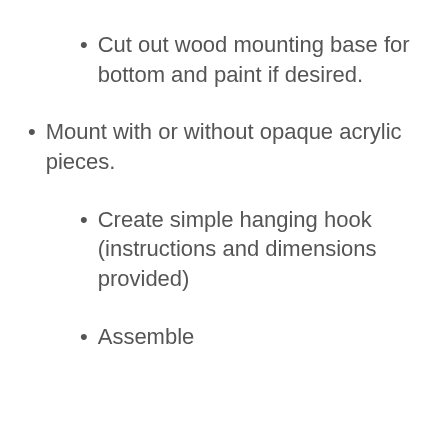Cut out wood mounting base for bottom and paint if desired.
Mount with or without opaque acrylic pieces.
Create simple hanging hook (instructions and dimensions provided)
Assemble